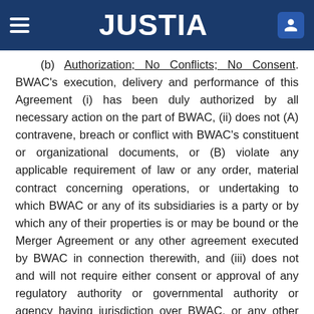JUSTIA
(b) Authorization; No Conflicts; No Consent. BWAC's execution, delivery and performance of this Agreement (i) has been duly authorized by all necessary action on the part of BWAC, (ii) does not (A) contravene, breach or conflict with BWAC's constituent or organizational documents, or (B) violate any applicable requirement of law or any order, material contract concerning operations, or undertaking to which BWAC or any of its subsidiaries is a party or by which any of their properties is or may be bound or the Merger Agreement or any other agreement executed by BWAC in connection therewith, and (iii) does not and will not require either consent or approval of any regulatory authority or governmental authority or agency having jurisdiction over BWAC, or any other person